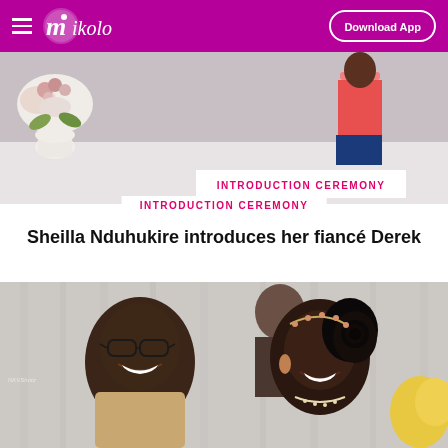Mikolo — Download App
[Figure (photo): Top portion of an introduction ceremony event photo showing people standing in a decorated venue with flowers]
INTRODUCTION CEREMONY
Sheilla Nduhukire introduces her fiancé Derek
[Figure (photo): Close-up photo of a smiling couple at an introduction ceremony; the man wears glasses and the woman has an elaborate updo with a decorative headband]